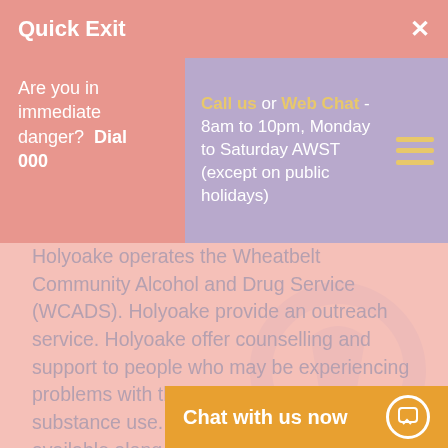Quick Exit  ×
Are you in immediate danger?  Dial 000
Call us or Web Chat - 8am to 10pm, Monday to Saturday AWST (except on public holidays)
Holyoake operates the Wheatbelt Community Alcohol and Drug Service (WCADS). Holyoake provide an outreach service. Holyoake offer counselling and support to people who may be experiencing problems with their own or someone else's substance use. Individual counselling is available along with specially designed programs to assist individuals and their families to cope with the consequences of alcohol and other drug use. They provides specialised counselling and support for individuals, signifi... youth.
Chat with us now